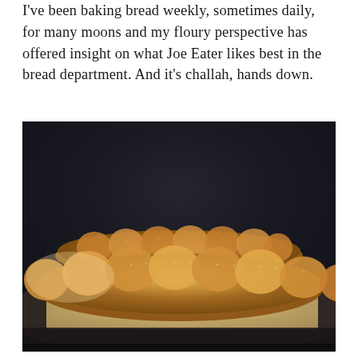I've been baking bread weekly, sometimes daily, for many moons and my floury perspective has offered insight on what Joe Eater likes best in the bread department. And it's challah, hands down.
[Figure (photo): Two braided challah loaves dusted with seeds sitting on a wooden cutting board, photographed against a dark background with dramatic lighting from the left side.]